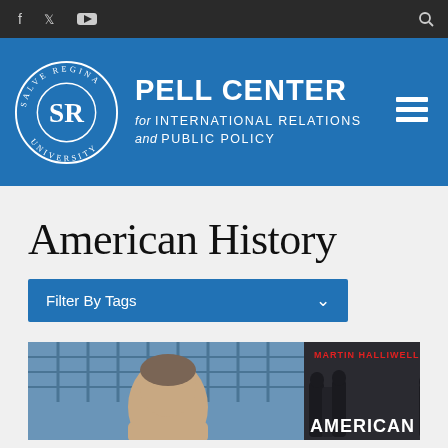[Figure (screenshot): Top dark navigation bar with social media icons (Facebook, Twitter, YouTube) on the left and a search icon on the right]
[Figure (logo): Salve Regina University circular logo with SR monogram, alongside Pell Center for International Relations and Public Policy text in white on blue background, with hamburger menu icon]
American History
Filter By Tags
[Figure (photo): Photo of a man's face against a modern building backdrop, next to a book cover reading 'MARTIN HALLIWELL' in red and 'AMERICAN' at the bottom in white, with period photograph of people in masks]